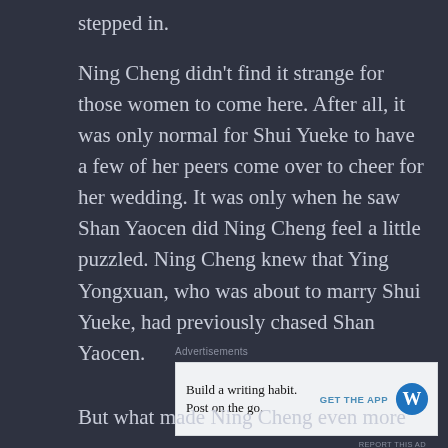stepped in.
Ning Cheng didn't find it strange for those women to come here. After all, it was only normal for Shui Yueke to have a few of her peers come over to cheer for her wedding. It was only when he saw Shan Yaocen did Ning Cheng feel a little puzzled. Ning Cheng knew that Ying Yongxuan, who was about to marry Shui Yueke, had previously chased Shan Yaocen.
Advertisements
[Figure (other): WordPress advertisement banner: 'Build a writing habit. Post on the go.' with GET THE APP button and WordPress logo]
REPORT THIS AD
But what made Ning Cheng even more